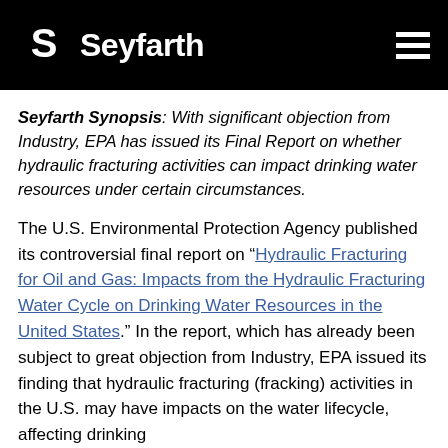Seyfarth
Seyfarth Synopsis: With significant objection from Industry, EPA has issued its Final Report on whether hydraulic fracturing activities can impact drinking water resources under certain circumstances.
The U.S. Environmental Protection Agency published its controversial final report on “Hydraulic Fracturing for Oil and Gas: Impacts from the Hydraulic Fracturing Water Cycle on Drinking Water Resources in the United States.” In the report, which has already been subject to great objection from Industry, EPA issued its finding that hydraulic fracturing (fracking) activities in the U.S. may have impacts on the water lifecycle, affecting drinking